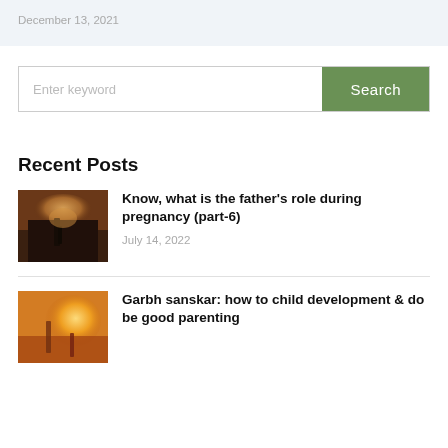December 13, 2021
Enter keyword
Search
Recent Posts
[Figure (photo): Silhouette of father and child on a path at sunset with dramatic cloudy sky]
Know, what is the father's role during pregnancy (part-6)
July 14, 2022
[Figure (photo): Silhouette of mother and child holding hands at sunset with warm orange glow]
Garbh sanskar: how to child development & do be good parenting